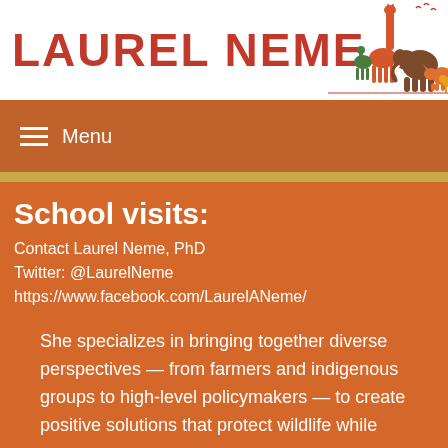LAUREL NEME
Menu
School visits:
Contact Laurel Neme, PhD
Twitter: @LaurelNeme
https://www.facebook.com/LaurelANeme/
She specializes in bringing together diverse perspectives — from farmers and indigenous groups to high-level policymakers — to create positive solutions that protect wildlife while